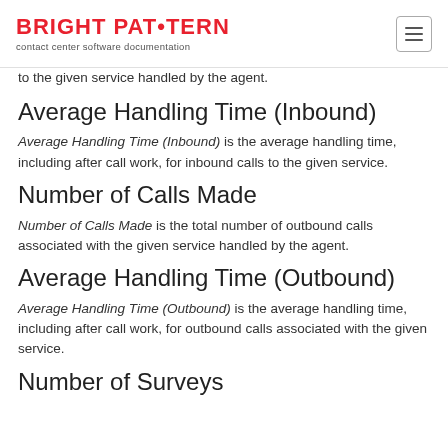BRIGHT PATTERN contact center software documentation
to the given service handled by the agent.
Average Handling Time (Inbound)
Average Handling Time (Inbound) is the average handling time, including after call work, for inbound calls to the given service.
Number of Calls Made
Number of Calls Made is the total number of outbound calls associated with the given service handled by the agent.
Average Handling Time (Outbound)
Average Handling Time (Outbound) is the average handling time, including after call work, for outbound calls associated with the given service.
Number of Surveys